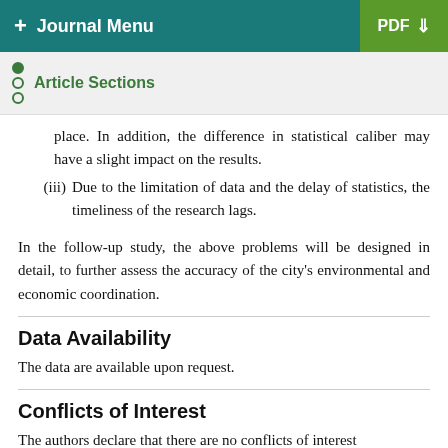+ Journal Menu | PDF
Article Sections
place. In addition, the difference in statistical caliber may have a slight impact on the results.
(iii) Due to the limitation of data and the delay of statistics, the timeliness of the research lags.
In the follow-up study, the above problems will be designed in detail, to further assess the accuracy of the city's environmental and economic coordination.
Data Availability
The data are available upon request.
Conflicts of Interest
The authors declare that there are no conflicts of interest